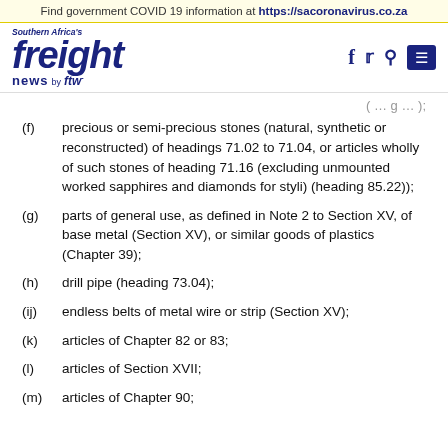Find government COVID 19 information at https://sacoronavirus.co.za
[Figure (logo): Southern Africa's freight news by ftw logo with social media icons (Facebook, Twitter, Search) and menu button]
(f)  precious or semi-precious stones (natural, synthetic or reconstructed) of headings 71.02 to 71.04, or articles wholly of such stones of heading 71.16 (excluding unmounted worked sapphires and diamonds for styli) (heading 85.22));
(g)  parts of general use, as defined in Note 2 to Section XV, of base metal (Section XV), or similar goods of plastics (Chapter 39);
(h)  drill pipe (heading 73.04);
(ij)  endless belts of metal wire or strip (Section XV);
(k)  articles of Chapter 82 or 83;
(l)  articles of Section XVII;
(m)  articles of Chapter 90;